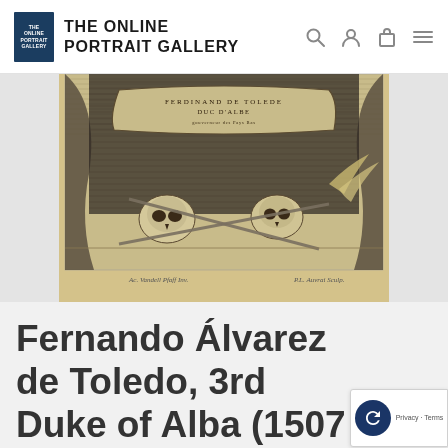THE ONLINE PORTRAIT GALLERY
[Figure (illustration): Lower portion of an antique engraving of Fernando Álvaro de Toledo, Duke of Alba, showing skulls, weapons, drapery, and a cartouche with the text FERDINAND DE TOLEDE DUC D'ALBE. Below the image plate mark: 'Ac Vandell Pfaff Inv.' on the left and 'P.L. Auvrai Sculp.' on the right.]
Fernando Álvarez de Toledo, 3rd Duke of Alba (1507